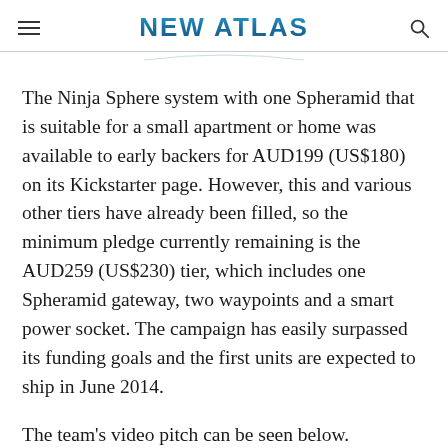NEW ATLAS
The Ninja Sphere system with one Spheramid that is suitable for a small apartment or home was available to early backers for AUD199 (US$180) on its Kickstarter page. However, this and various other tiers have already been filled, so the minimum pledge currently remaining is the AUD259 (US$230) tier, which includes one Spheramid gateway, two waypoints and a smart power socket. The campaign has easily surpassed its funding goals and the first units are expected to ship in June 2014.
The team's video pitch can be seen below.